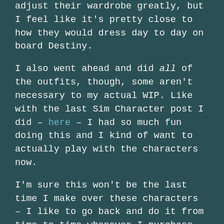adjust their wardrobe greatly, but I feel like it's pretty close to how they would dress day to day on board Destiny.
I also went ahead and did all of the outfits, though, some aren't necessary to my actual WIP. Like with the last Sim Character post I did – here – I had so much fun doing this and I kind of want to actually play with the characters now.
I'm sure this won't be the last time I make over these characters – I like to go back and do it from time to time whenever I purchase new packs for my game. New packs = new content and maybe one step closer to getting them exactly right.
This is just for fun – despite the sheer amount of time it took to do this – and I highly encourage you